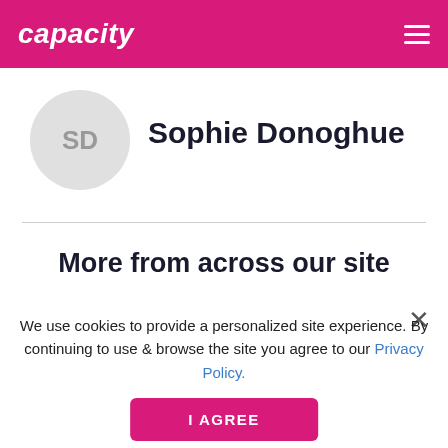capacity
[Figure (other): User avatar circle with initials SD]
Sophie Donoghue
More from across our site
We use cookies to provide a personalized site experience. By continuing to use & browse the site you agree to our Privacy Policy.
I AGREE